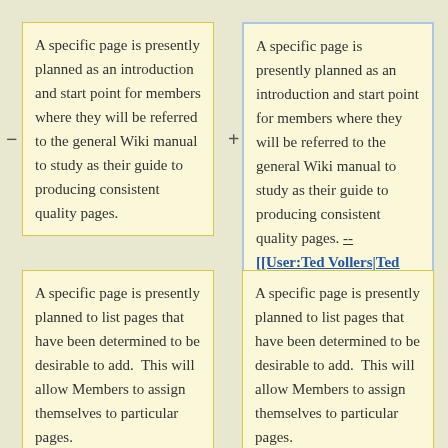A specific page is presently planned as an introduction and start point for members where they will be referred to the general Wiki manual to study as their guide to producing consistent quality pages.
A specific page is presently planned as an introduction and start point for members where they will be referred to the general Wiki manual to study as their guide to producing consistent quality pages. -- [[User:Ted Vollers|Ted Vollers]] 19:24, 24 May 2011 (CDT)
A specific page is presently planned to list pages that have been determined to be desirable to add. This will allow Members to assign themselves to particular pages.
A specific page is presently planned to list pages that have been determined to be desirable to add. This will allow Members to assign themselves to particular pages.